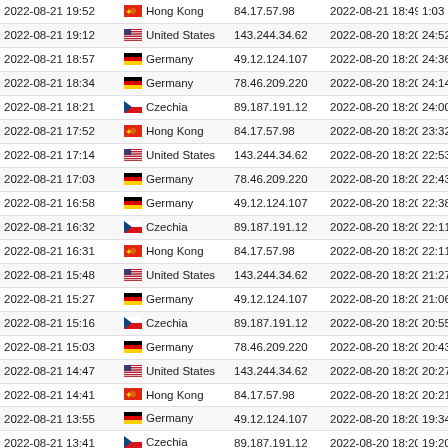| DateTime | Country | IP | Date2 | Duration |
| --- | --- | --- | --- | --- |
| 2022-08-21 19:52 | Hong Kong | 84.17.57.98 | 2022-08-21 18:49 | 1:03 |
| 2022-08-21 19:12 | United States | 143.244.34.62 | 2022-08-20 18:20 | 24:52 |
| 2022-08-21 18:57 | Germany | 49.12.124.107 | 2022-08-20 18:20 | 24:36 |
| 2022-08-21 18:34 | Germany | 78.46.209.220 | 2022-08-20 18:20 | 24:14 |
| 2022-08-21 18:21 | Czechia | 89.187.191.12 | 2022-08-20 18:20 | 24:00 |
| 2022-08-21 17:52 | Hong Kong | 84.17.57.98 | 2022-08-20 18:20 | 23:32 |
| 2022-08-21 17:14 | United States | 143.244.34.62 | 2022-08-20 18:20 | 22:53 |
| 2022-08-21 17:03 | Germany | 78.46.209.220 | 2022-08-20 18:20 | 22:43 |
| 2022-08-21 16:58 | Germany | 49.12.124.107 | 2022-08-20 18:20 | 22:38 |
| 2022-08-21 16:32 | Czechia | 89.187.191.12 | 2022-08-20 18:20 | 22:11 |
| 2022-08-21 16:31 | Hong Kong | 84.17.57.98 | 2022-08-20 18:20 | 22:11 |
| 2022-08-21 15:48 | United States | 143.244.34.62 | 2022-08-20 18:20 | 21:27 |
| 2022-08-21 15:27 | Germany | 49.12.124.107 | 2022-08-20 18:20 | 21:06 |
| 2022-08-21 15:16 | Czechia | 89.187.191.12 | 2022-08-20 18:20 | 20:55 |
| 2022-08-21 15:03 | Germany | 78.46.209.220 | 2022-08-20 18:20 | 20:43 |
| 2022-08-21 14:47 | United States | 143.244.34.62 | 2022-08-20 18:20 | 20:27 |
| 2022-08-21 14:41 | Hong Kong | 84.17.57.98 | 2022-08-20 18:20 | 20:21 |
| 2022-08-21 13:55 | Germany | 49.12.124.107 | 2022-08-20 18:20 | 19:34 |
| 2022-08-21 13:41 | Czechia | 89.187.191.12 | 2022-08-20 18:20 | 19:20 |
| 2022-08-21 13:33 | Germany | 78.46.209.220 | 2022-08-20 18:20 | 19:13 |
| 2022-08-21 13:20 | United States | 143.244.34.62 | 2022-08-20 18:20 | 18:58 |